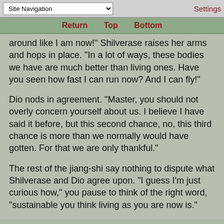Site Navigation | Settings
Return  Top  Bottom
around like I am now!" Shilverase raises her arms and hops in place. "In a lot of ways, these bodies we have are much better than living ones. Have you seen how fast I can run now? And I can fly!"
Dio nods in agreement. "Master, you should not overly concern yourself about us. I believe I have said it before, but this second chance, no, this third chance is more than we normally would have gotten. For that we are only thankful."
The rest of the jiang-shi say nothing to dispute what Shilverase and Dio agree upon. "I guess I'm just curious how," you pause to think of the right word, "sustainable you think living as you are now is."
"I think we can live like this for a long time," Rea concludes.
"I agree!" Shilverase shouts. "No bad guy is going to